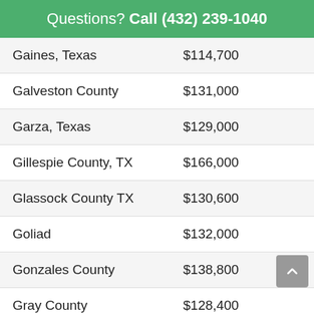Questions? Call (432) 239-1040
| Gaines, Texas | $114,700 |  |
| Galveston County | $131,000 |  |
| Garza, Texas | $129,000 |  |
| Gillespie County, TX | $166,000 |  |
| Glassock County TX | $130,600 |  |
| Goliad | $132,000 |  |
| Gonzales County | $138,800 |  |
| Gray County | $128,400 |  |